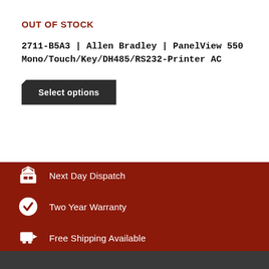OUT OF STOCK
2711-B5A3 | Allen Bradley | PanelView 550 Mono/Touch/Key/DH485/RS232-Printer AC
Select options
Next Day Dispatch
Two Year Warranty
Free Shipping Available